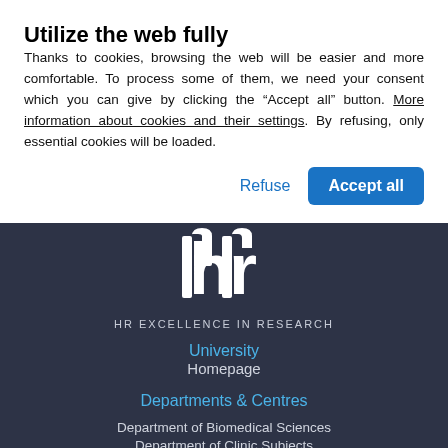Utilize the web fully
Thanks to cookies, browsing the web will be easier and more comfortable. To process some of them, we need your consent which you can give by clicking the “Accept all” button. More information about cookies and their settings. By refusing, only essential cookies will be loaded.
Refuse | Accept all
[Figure (logo): HR Excellence in Research logo - white stylized letters 'hr' on dark background]
HR EXCELLENCE IN RESEARCH
University
Homepage
Departments & Centres
Department of Biomedical Sciences
Department of Clinic Subjects
Department of Clinical Neurosciences
Department of Craniofacial Surgery